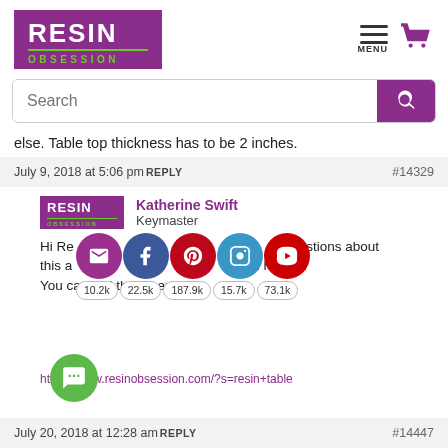[Figure (logo): Resin Obsession logo - purple rectangle with white RESIN text and green OBSESSION text]
[Figure (infographic): Menu hamburger icon and purple shopping cart icon]
Search
else. Table top thickness has to be 2 inches.
July 9, 2018 at 5:06 pm REPLY #14329
Katherine Swift
Keymaster
Hi Re... questions about this article... You can find them here:
https://www.resinobsession.com/?s=resin+table
July 20, 2018 at 12:28 am REPLY #14447